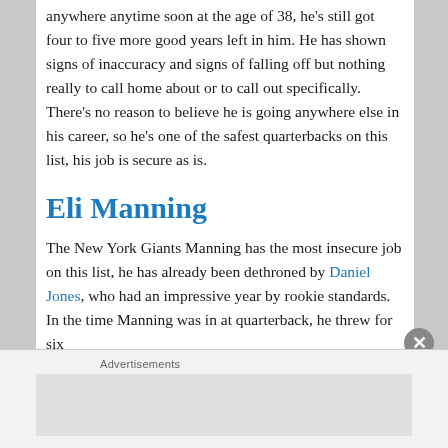anywhere anytime soon at the age of 38, he's still got four to five more good years left in him. He has shown signs of inaccuracy and signs of falling off but nothing really to call home about or to call out specifically. There's no reason to believe he is going anywhere else in his career, so he's one of the safest quarterbacks on this list, his job is secure as is.
Eli Manning
The New York Giants Manning has the most insecure job on this list, he has already been dethroned by Daniel Jones, who had an impressive year by rookie standards. In the time Manning was in at quarterback, he threw for six
Advertisements